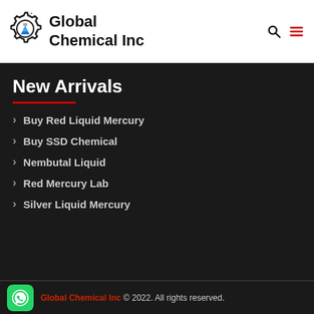[Figure (logo): Global Chemical Inc logo with gear and flask icon]
Global Chemical Inc
New Arrivals
Buy Red Liquid Mercury
Buy SSD Chemical
Nembutal Liquid
Red Mercury Lab
Silver Liquid Mercury
Global Chemical Inc © 2022. All rights reserved.